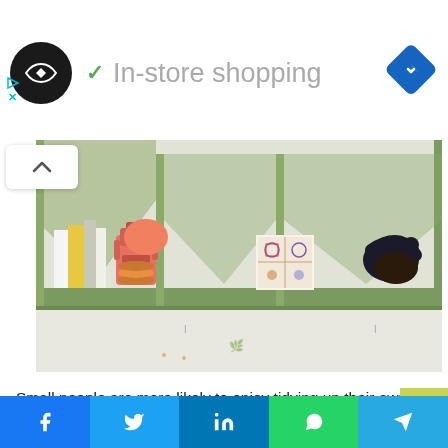In-store shopping
[Figure (photo): A green wooden divided wall shelf displaying decorative items: books, a pink robot figurine, patterned tiles/blocks, and a black bird sculpture on a white surface]
Small people are more likely to enjoy tidying up their own space if everything has a place.
A divided shelf such as this one encourages neatness, provided it's within easy reach.
Social share bar: Facebook, Twitter, LinkedIn, WhatsApp, Telegram